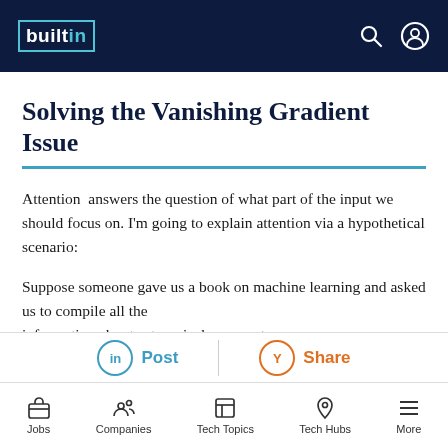builtin
Solving the Vanishing Gradient Issue
Attention  answers the question of what part of the input we should focus on. I'm going to explain attention via a hypothetical scenario:
Suppose someone gave us a book on machine learning and asked us to compile all the information about categorical cross-entropy...
Jobs | Companies | Tech Topics | Tech Hubs | More